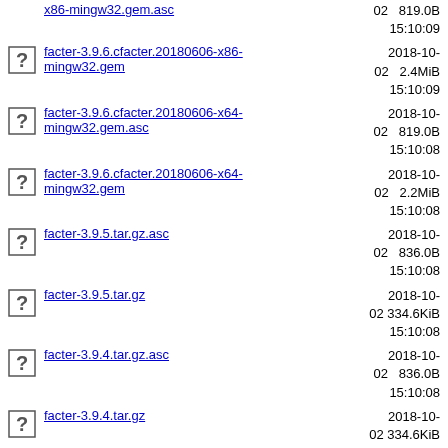x86-mingw32.gem.asc  2018-10-02 15:10:09  819.0B
facter-3.9.6.cfacter.20180606-x86-mingw32.gem  2018-10-02 15:10:09  2.4MiB
facter-3.9.6.cfacter.20180606-x64-mingw32.gem.asc  2018-10-02 15:10:08  819.0B
facter-3.9.6.cfacter.20180606-x64-mingw32.gem  2018-10-02 15:10:08  2.2MiB
facter-3.9.5.tar.gz.asc  2018-10-02 15:10:08  836.0B
facter-3.9.5.tar.gz  2018-10-02 15:10:08  334.6KiB
facter-3.9.4.tar.gz.asc  2018-10-02 15:10:08  836.0B
facter-3.9.4.tar.gz  2018-10-02 15:10:08  334.6KiB
2018-10-